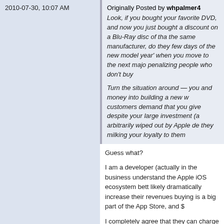2010-07-30, 10:07 AM
Originally Posted by whpalmer4
Look, if you bought your favorite DVD, and now you just bought a discount on a Blu-Ray disc of tha the same manufacturer, do they few days of the new model year' when you move to the next majo penalizing people who don't buy

Turn the situation around — you and money into building a new w customers demand that you give despite your large investment (a arbitrarily wiped out by Apple de they milking your loyalty to them
Guess what?
I am a developer (actually in the business understand the Apple iOS ecosystem bett likely dramatically increase their revenues buying is a big part of the App Store, and $
I completely agree that they can charge w that at least some of their loyal customers may very well spring for the app, but the m OG offered a "fans" discount for the first fe forums, I'm not alone.